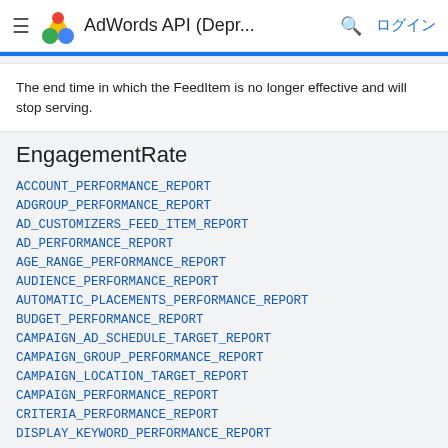AdWords API (Depr...   ログイン
The end time in which the FeedItem is no longer effective and will stop serving.
EngagementRate
ACCOUNT_PERFORMANCE_REPORT
ADGROUP_PERFORMANCE_REPORT
AD_CUSTOMIZERS_FEED_ITEM_REPORT
AD_PERFORMANCE_REPORT
AGE_RANGE_PERFORMANCE_REPORT
AUDIENCE_PERFORMANCE_REPORT
AUTOMATIC_PLACEMENTS_PERFORMANCE_REPORT
BUDGET_PERFORMANCE_REPORT
CAMPAIGN_AD_SCHEDULE_TARGET_REPORT
CAMPAIGN_GROUP_PERFORMANCE_REPORT
CAMPAIGN_LOCATION_TARGET_REPORT
CAMPAIGN_PERFORMANCE_REPORT
CRITERIA_PERFORMANCE_REPORT
DISPLAY_KEYWORD_PERFORMANCE_REPORT